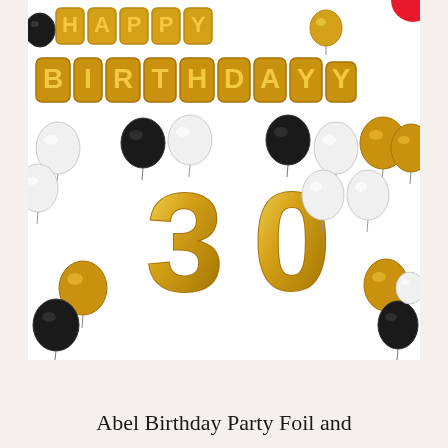[Figure (photo): Product photo of a Happy Birthday balloon set featuring gold foil letter balloons spelling HAPPY BIRTHDAY arranged in two rows, large gold foil number 30 balloons in the center, surrounded by black, white, and gold latex balloons on a white background.]
Abel Birthday Party Foil and